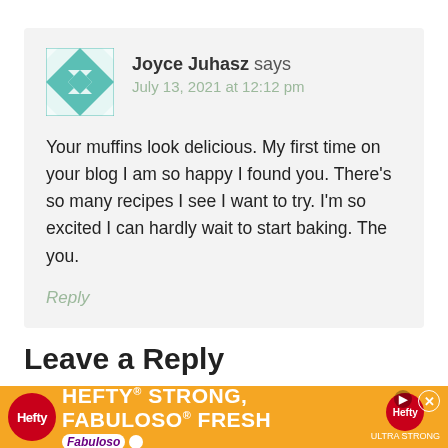Joyce Juhasz says
July 13, 2021 at 12:12 pm
Your muffins look delicious. My first time on your blog I am so happy I found you. There’s so many recipes I see I want to try. I’m so excited I can hardly wait to start baking. The you.
Reply
Leave a Reply
Your ... Requ...
[Figure (other): Hefty advertisement banner: HEFTY STRONG, FABULOSO FRESH on orange background with Hefty and Fabuloso logos]